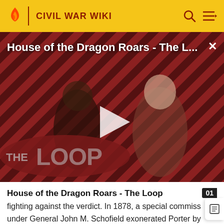CIVIL WAR WIKI
[Figure (screenshot): Video thumbnail for 'House of the Dragon Roars - The L...' with a play button overlay, showing two characters from House of the Dragon against a diagonal striped red-and-black background. THE LOOP logo appears in the lower left.]
House of the Dragon Roars - The Loop
fighting against the verdict. In 1878, a special commiss under General John M. Schofield exonerated Porter by finding that his reluctance to attack Longstreet probably saved Pope's Army of Virginia from an even greater